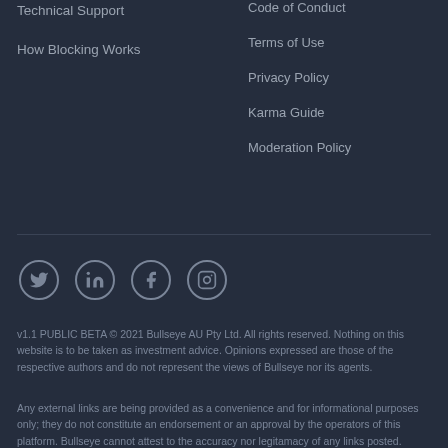Technical Support
How Blocking Works
Code of Conduct
Terms of Use
Privacy Policy
Karma Guide
Moderation Policy
[Figure (infographic): Social media icons: Twitter, LinkedIn, Facebook, Instagram in circular outlines]
v1.1 PUBLIC BETA © 2021 Bullseye AU Pty Ltd. All rights reserved. Nothing on this website is to be taken as investment advice. Opinions expressed are those of the respective authors and do not represent the views of Bullseye nor its agents.
Any external links are being provided as a convenience and for informational purposes only; they do not constitute an endorsement or an approval by the operators of this platform. Bullseye cannot attest to the accuracy nor legitamacy of any links posted.